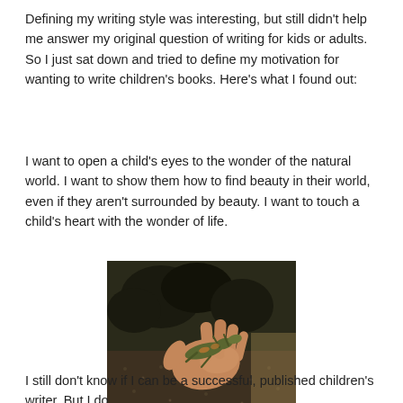Defining my writing style was interesting, but still didn't help me answer my original question of writing for kids or adults. So I just sat down and tried to define my motivation for wanting to write children's books. Here's what I found out:
I want to open a child's eyes to the wonder of the natural world. I want to show them how to find beauty in their world, even if they aren't surrounded by beauty. I want to touch a child's heart with the wonder of life.
[Figure (photo): A hand holding a small lizard or salamander, outdoors on gravelly ground with dark brush in the background. Natural lighting from the right side.]
I still don't know if I can be a successful, published children's writer. But I do